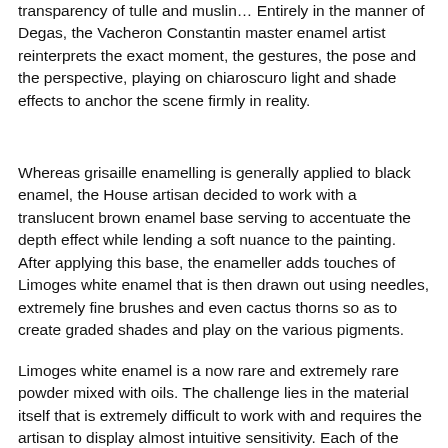transparency of tulle and muslin… Entirely in the manner of Degas, the Vacheron Constantin master enamel artist reinterprets the exact moment, the gestures, the pose and the perspective, playing on chiaroscuro light and shade effects to anchor the scene firmly in reality.
Whereas grisaille enamelling is generally applied to black enamel, the House artisan decided to work with a translucent brown enamel base serving to accentuate the depth effect while lending a soft nuance to the painting. After applying this base, the enameller adds touches of Limoges white enamel that is then drawn out using needles, extremely fine brushes and even cactus thorns so as to create graded shades and play on the various pigments.
Limoges white enamel is a now rare and extremely rare powder mixed with oils. The challenge lies in the material itself that is extremely difficult to work with and requires the artisan to display almost intuitive sensitivity. Each of the layers requires a firing operation that must be timed to the nearest second. With each Grand Feu firing, the enamels change, become more intense and saturate. The enamel undergoes a transformation, acquiring depth in the